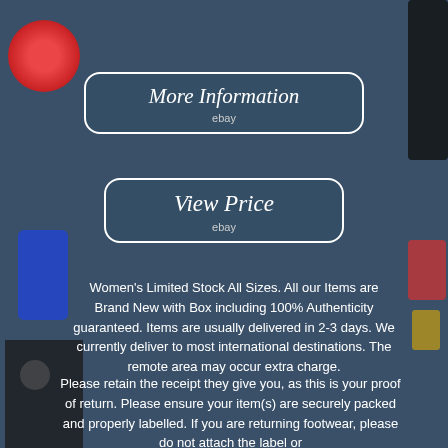[Figure (photo): Product listing page with wiring kit cables visible on left and right sides (red, blue, black wires and connectors) against a dark blue-grey background.]
More Information
ebay
View Price
ebay
Women's Limited Stock All Sizes. All our Items are Brand New with Box including 100% Authenticity guaranteed. Items are usually delivered in 2-3 days. We currently deliver to most international destinations. The remote area may occur extra charge.
Please retain the receipt they give you, as this is your proof of return. Please ensure your item(s) are securely packed and properly labelled. If you are returning footwear, please do not attach the label or